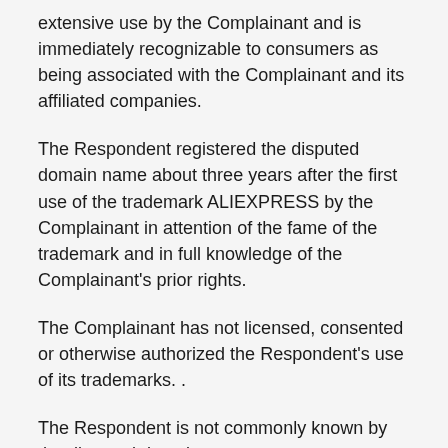extensive use by the Complainant and is immediately recognizable to consumers as being associated with the Complainant and its affiliated companies.
The Respondent registered the disputed domain name about three years after the first use of the trademark ALIEXPRESS by the Complainant in attention of the fame of the trademark and in full knowledge of the Complainant's prior rights.
The Complainant has not licensed, consented or otherwise authorized the Respondent's use of its trademarks. .
The Respondent is not commonly known by the disputed domain name.
The Respondent does not own any trademark registration either in Spain or in China corresponding to the disputed domain name.
The disputed domain name automatically redirected users